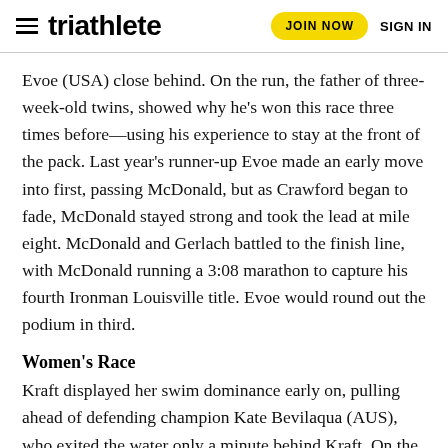triathlete | JOIN NOW | SIGN IN
Evoe (USA) close behind. On the run, the father of three-week-old twins, showed why he's won this race three times before—using his experience to stay at the front of the pack. Last year's runner-up Evoe made an early move into first, passing McDonald, but as Crawford began to fade, McDonald stayed strong and took the lead at mile eight. McDonald and Gerlach battled to the finish line, with McDonald running a 3:08 marathon to capture his fourth Ironman Louisville title. Evoe would round out the podium in third.
Women's Race
Kraft displayed her swim dominance early on, pulling ahead of defending champion Kate Bevilaqua (AUS), who exited the water only a minute behind Kraft. On the bike, it was all Kraft and Bevilaqua, who rode together exchanging leads all day as the rest of the field thinned out to 10 and then 20 minutes…